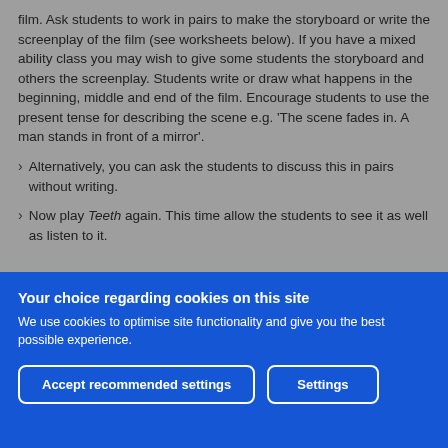film. Ask students to work in pairs to make the storyboard or write the screenplay of the film (see worksheets below). If you have a mixed ability class you may wish to give some students the storyboard and others the screenplay. Students write or draw what happens in the beginning, middle and end of the film. Encourage students to use the present tense for describing the scene e.g. 'The scene fades in. A man stands in front of a mirror'.
Alternatively, you can ask the students to discuss this in pairs without writing.
Now play Teeth again. This time allow the students to see it as well as listen to it.
Your choice regarding cookies on this site
We use cookies to optimise site functionality and give you the best possible experience.